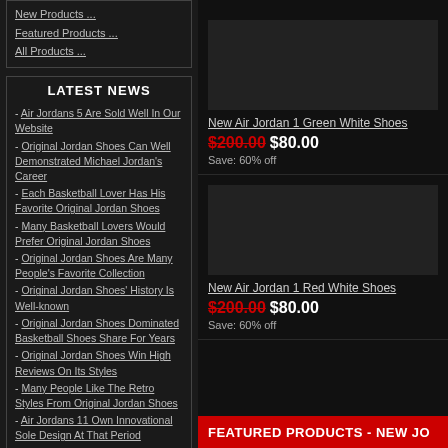New Products ...
Featured Products ...
All Products ...
LATEST NEWS
- Air Jordans 5 Are Sold Well In Our Website
- Original Jordan Shoes Can Well Demonstrated Michael Jordan's Career
- Each Basketball Lover Has His Favorite Original Jordan Shoes
- Many Basketball Lovers Would Prefer Original Jordan Shoes
- Original Jordan Shoes Are Many People's Favorite Collection
- Original Jordan Shoes' History Is Well-known
- Original Jordan Shoes Dominated Basketball Shoes Share For Years
- Original Jordan Shoes Win High Reviews On Its Styles
- Many People Like The Retro Styles From Original Jordan Shoes
- Air Jordans 11 Own Innovational Sole Design At That Period
New Air Jordan 1 Green White Shoes
$200.00 $80.00 Save: 60% off
New Air Jordan 1 Red White Shoes
$200.00 $80.00 Save: 60% off
FEATURED PRODUCTS - NEW JO